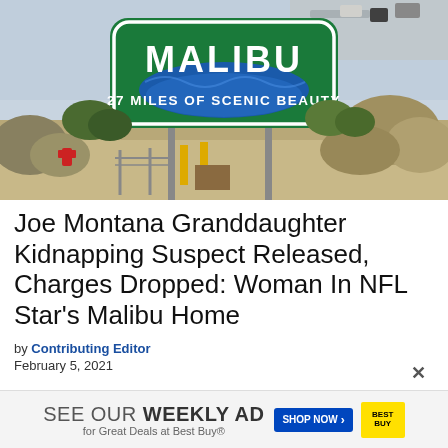[Figure (photo): A roadside sign reading 'MALIBU 27 MILES OF SCENIC BEAUTY' with a green and blue design, set against a backdrop of dry brush and a highway with cars visible in the distance.]
Joe Montana Granddaughter Kidnapping Suspect Released, Charges Dropped: Woman In NFL Star's Malibu Home
by Contributing Editor
February 5, 2021
SEE OUR WEEKLY AD for Great Deals at Best Buy®